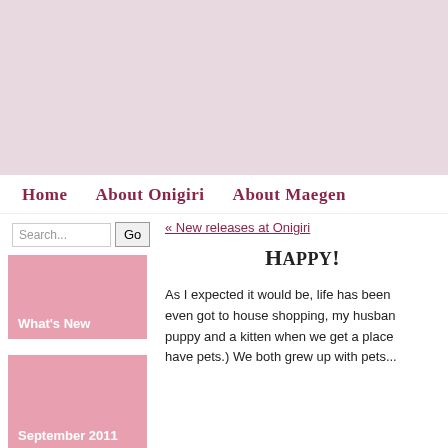[Figure (other): Light pinkish-purple banner/header area at the top of the webpage]
Home   About Onigiri   About Maegen
« New releases at Onigiri
Happy!
What's New
September 2011
As I expected it would be, life has been even got to house shopping, my husband puppy and a kitten when we get a place have pets.) We both grew up with pets...